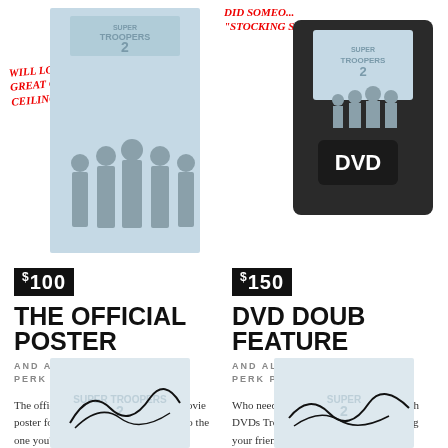WILL LOOK GREAT ON YOUR CEILING
[Figure (illustration): Super Troopers 2 movie poster with silhouettes of characters]
DID SOMEO... "STOCKING ST..."
[Figure (illustration): DVD double feature case for Super Troopers]
$100
THE OFFICIAL POSTER
AND ALL PREVIOUS PERK PACKAGES
The official, full-size, theater quality movie poster forSuper Troopers 2. Identical to the one you'd try to steal from the theaters.
$150
DVD DOUBLE FEATURE
AND ALL PREVIOUS PERK PACKAGES
Who needs the internet? marathon on with DVDs Troopers and Super Troo for making your friends w
[Figure (illustration): Signed item with Super Troopers 2 logo]
[Figure (illustration): Signed item with Super Troopers logo]